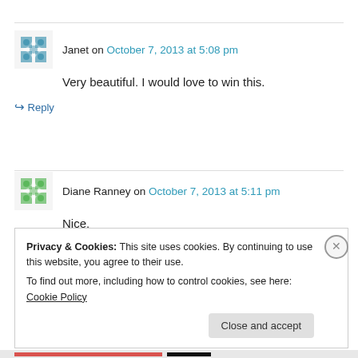Janet on October 7, 2013 at 5:08 pm
Very beautiful. I would love to win this.
↳ Reply
Diane Ranney on October 7, 2013 at 5:11 pm
Nice.
↳ Reply
Privacy & Cookies: This site uses cookies. By continuing to use this website, you agree to their use.
To find out more, including how to control cookies, see here: Cookie Policy
Close and accept